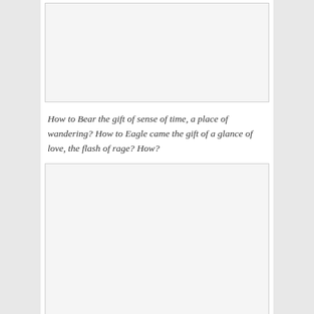[Figure (other): Empty image placeholder box at top of page]
How to Bear the gift of sense of time, a place of wandering? How to Eagle came the gift of a glance of love, the flash of rage? How?
[Figure (other): Empty image placeholder box in middle of page]
Who gave to us the gifts we do not own but borrow and pass on? Who made us one? Who set the Path of Souls? Who carved the Land of Peace? Who?*